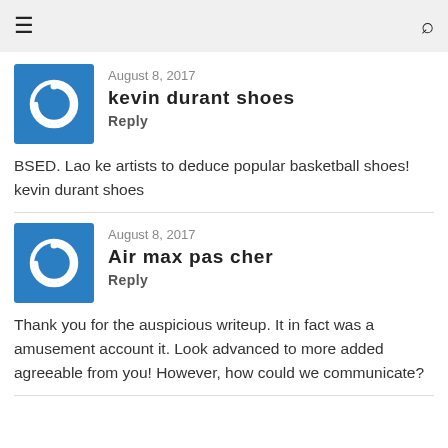☰  🔍
August 8, 2017
kevin durant shoes
Reply
BSED. Lao ke artists to deduce popular basketball shoes! kevin durant shoes
August 8, 2017
Air max pas cher
Reply
Thank you for the auspicious writeup. It in fact was a amusement account it. Look advanced to more added agreeable from you! However, how could we communicate?